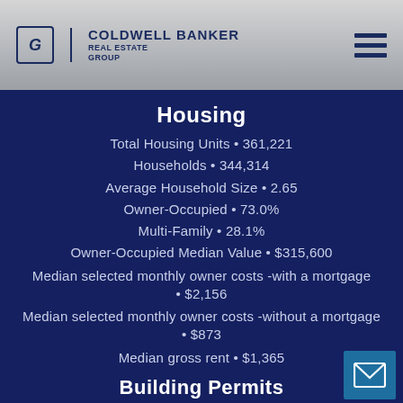COLDWELL BANKER REAL ESTATE GROUP
Housing
Total Housing Units • 361,221
Households • 344,314
Average Household Size • 2.65
Owner-Occupied • 73.0%
Multi-Family • 28.1%
Owner-Occupied Median Value • $315,600
Median selected monthly owner costs -with a mortgage • $2,156
Median selected monthly owner costs -without a mortgage • $873
Median gross rent • $1,365
Building Permits
New Private Housing Issued 2020 • 1,554